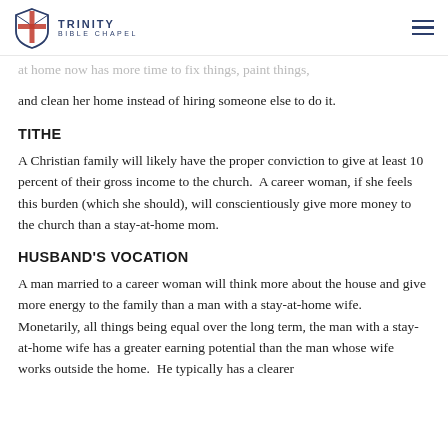TRINITY BIBLE CHAPEL
at home now has more time to fix things, paint things, and clean her home instead of hiring someone else to do it.
TITHE
A Christian family will likely have the proper conviction to give at least 10 percent of their gross income to the church. A career woman, if she feels this burden (which she should), will conscientiously give more money to the church than a stay-at-home mom.
HUSBAND'S VOCATION
A man married to a career woman will think more about the house and give more energy to the family than a man with a stay-at-home wife. Monetarily, all things being equal over the long term, the man with a stay-at-home wife has a greater earning potential than the man whose wife works outside the home. He typically has a clearer